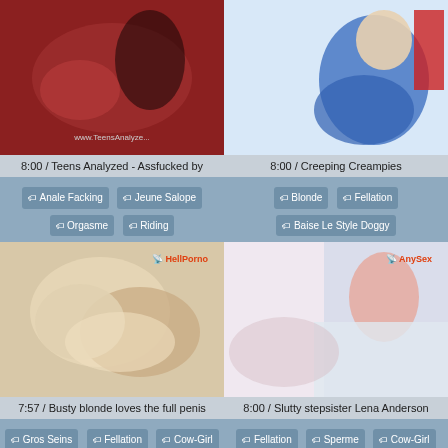[Figure (photo): Video thumbnail 1 - Teens Analyzed]
[Figure (photo): Video thumbnail 2 - Creeping Creampies]
8:00 / Teens Analyzed - Assfucked by
8:00 / Creeping Creampies
Anale Facking  Jeune Salope  Orgasme  Riding
Blonde  Fellation  Baise Le Style Doggy
[Figure (photo): Video thumbnail 3 - Busty blonde loves the full penis - HellPorno]
[Figure (photo): Video thumbnail 4 - Slutty stepsister Lena Anderson - AnySex]
7:57 / Busty blonde loves the full penis
8:00 / Slutty stepsister Lena Anderson
Gros Seins  Fellation  Cow-Girl  Hardcore
Fellation  Sperme  Cow-Girl  Massage Du Visage
[Figure (photo): Video thumbnail 5 - bottom left - TubeDupe]
[Figure (photo): Video thumbnail 6 - bottom right - AlphaPorno]